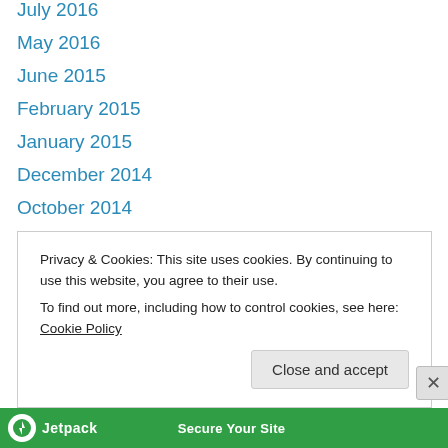July 2016
May 2016
June 2015
February 2015
January 2015
December 2014
October 2014
May 2014
March 2014
January 2014
December 2013
November 2013
October 2013
Privacy & Cookies: This site uses cookies. By continuing to use this website, you agree to their use.
To find out more, including how to control cookies, see here: Cookie Policy
Close and accept
[Figure (logo): Jetpack - Secure Your Site banner]